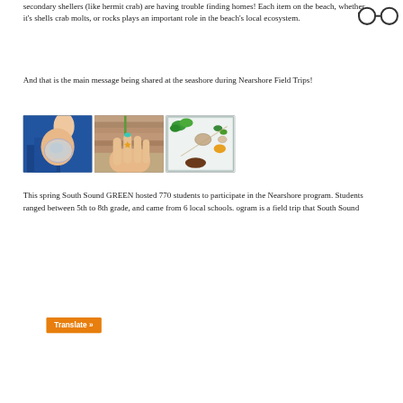secondary shellers (like hermit crab) are having trouble finding homes! Each item on the beach, whether it's shells crab molts, or rocks plays an important role in the beach's local ecosystem.
[Figure (illustration): Glasses/reading icon in top right corner]
And that is the main message being shared at the seashore during Nearshore Field Trips!
[Figure (photo): Three photos side by side: left shows a hand holding a clear shell/jellyfish with blue background; center shows a hand with teal nails holding a tiny orange starfish on a wood surface; right shows a clear container with various small marine specimens including green plants and shells.]
This spring South Sound GREEN hosted 770 students to participate in the Nearshore program. Students ranged between 5th to 8th grade, and came from 6 local schools. ogram is a field trip that South Sound
[Figure (other): Translate button (orange) with text 'Translate »']